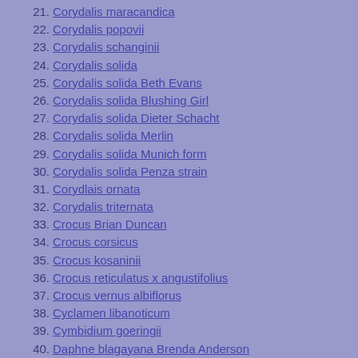21. Corydalis maracandica
22. Corydalis popovii
23. Corydalis schanginii
24. Corydalis solida
25. Corydalis solida Beth Evans
26. Corydalis solida Blushing Girl
27. Corydalis solida Dieter Schacht
28. Corydalis solida Merlin
29. Corydalis solida Munich form
30. Corydalis solida Penza strain
31. Corydlais ornata
32. Corydalis triternata
33. Crocus Brian Duncan
34. Crocus corsicus
35. Crocus kosaninii
36. Crocus reticulatus x angustifolius
37. Crocus vernus albiflorus
38. Cyclamen libanoticum
39. Cymbidium goeringii
40. Daphne blagayana Brenda Anderson
41. Dionysia Andreas
42. Dionysia aretioides Bevere
43. Dionysia bazoftica
44. Dionysia Bernd Weztel
45. Dionysia bryoides